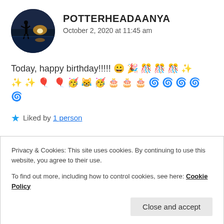[Figure (photo): Circular avatar photo showing a silhouette of a person against a sunset/water background]
POTTERHEADAANYA
October 2, 2020 at 11:45 am
Today, happy birthday!!!!! 😀 🎉 🎊 🎊 🎊 ✨ ✨ ✨ 🎈 🎈 🥳 😹 🥳 🎂 🎂 🎂 🌀 🌀 🌀 🌀 🌀
★ Liked by 1 person
Privacy & Cookies: This site uses cookies. By continuing to use this website, you agree to their use.
To find out more, including how to control cookies, see here: Cookie Policy